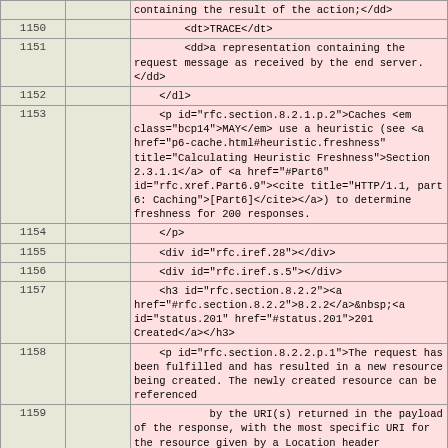| line |  | code |
| --- | --- | --- |
|  |  | containing the result of the action;</dd> |
| 1150 |  |         <dt>TRACE</dt> |
| 1151 |  |         <dd>a representation containing the request message as received by the end server.</dd> |
| 1152 |  |     </dl> |
| 1153 |  |     <p id="rfc.section.8.2.1.p.2">Caches <em class="bcp14">MAY</em> use a heuristic (see <a href="p6-cache.html#heuristic.freshness" title="Calculating Heuristic Freshness">Section 2.3.1.1</a> of <a href="#Part6" id="rfc.xref.Part6.9"><cite title="HTTP/1.1, part 6: Caching">[Part6]</cite></a>) to determine freshness for 200 responses. |
| 1154 |  |     </p> |
| 1155 |  |     <div id="rfc.iref.28"></div> |
| 1156 |  |     <div id="rfc.iref.s.5"></div> |
| 1157 |  |     <h3 id="rfc.section.8.2.2"><a href="#rfc.section.8.2.2">8.2.2</a>&nbsp;<a id="status.201" href="#status.201">201 Created</a></h3> |
| 1158 |  |     <p id="rfc.section.8.2.2.p.1">The request has been fulfilled and has resulted in a new resource being created. The newly created resource can be referenced |
| 1159 |  |             by the URI(s) returned in the payload of the response, with the most specific URI for the resource given by a Location header |
| 1160 |  |             field. The response <em class="bcp14">SHOULD</em> include a payload containing a list of resource characteristics and location(s) from which the user or user agent can choose |
| 1161 |  |             the one most appropriate. The payload format is specified by the media type given in |